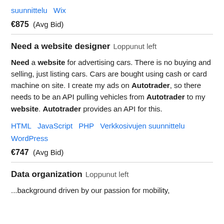suunnittelu   Wix
€875  (Avg Bid)
Need a website designer   Loppunut left
Need a website for advertising cars. There is no buying and selling, just listing cars. Cars are bought using cash or card machine on site. I create my ads on Autotrader, so there needs to be an API pulling vehicles from Autotrader to my website. Autotrader provides an API for this.
HTML   JavaScript   PHP   Verkkosivujen suunnittelu   WordPress
€747  (Avg Bid)
Data organization   Loppunut left
...background driven by our passion for mobility,